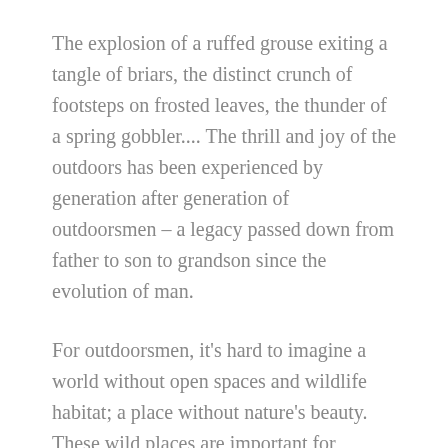The explosion of a ruffed grouse exiting a tangle of briars, the distinct crunch of footsteps on frosted leaves, the thunder of a spring gobbler.... The thrill and joy of the outdoors has been experienced by generation after generation of outdoorsmen – a legacy passed down from father to son to grandson since the evolution of man.
For outdoorsmen, it's hard to imagine a world without open spaces and wildlife habitat; a place without nature's beauty. These wild places are important for replenishing our air and water quality and for replenishment of out human spirit, as we are all participants in the web of life on this planet.
Unfortunately, open space and access to it are becoming more and more difficult to find. Loss of